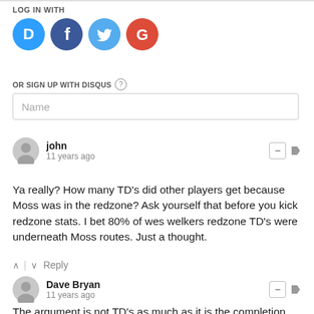LOG IN WITH
[Figure (illustration): Social login icons: Disqus (blue speech bubble with D), Facebook (dark blue circle with f), Twitter (light blue circle with bird), Google (red/white circle with G)]
OR SIGN UP WITH DISQUS ?
Name
john
11 years ago
Ya really? How many TD's did other players get because Moss was in the redzone? Ask yourself that before you kick redzone stats. I bet 80% of wes welkers redzone TD's were underneath Moss routes. Just a thought.
↑ | ↓   Reply
Dave Bryan
11 years ago
The argument is not TD's as much as it is the completion rate when thrown to. Burress has been surrounded by good receivers as well, with Ward and Toomer both on this list. The